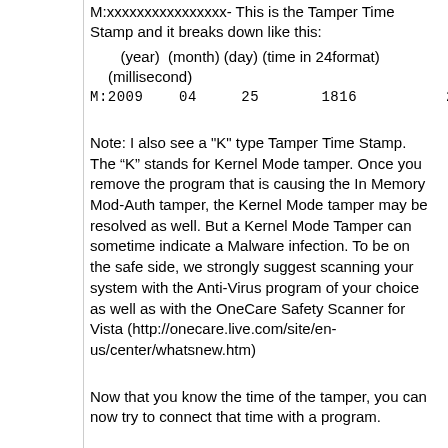M:xxxxxxxxxxxxxxxx- This is the Tamper Time Stamp and it breaks down like this:
(year)  (month) (day) (time in 24format) (millisecond)
M:2009    04     25       1816              27355-
Note: I also see a "K" type Tamper Time Stamp. The “K” stands for Kernel Mode tamper. Once you remove the program that is causing the In Memory Mod-Auth tamper, the Kernel Mode tamper may be resolved as well. But a Kernel Mode Tamper can sometime indicate a Malware infection. To be on the safe side, we strongly suggest scanning your system with the Anti-Virus program of your choice as well as with the OneCare Safety Scanner for Vista (http://onecare.live.com/site/en-us/center/whatsnew.htm)
Now that you know the time of the tamper, you can now try to connect that time with a program.